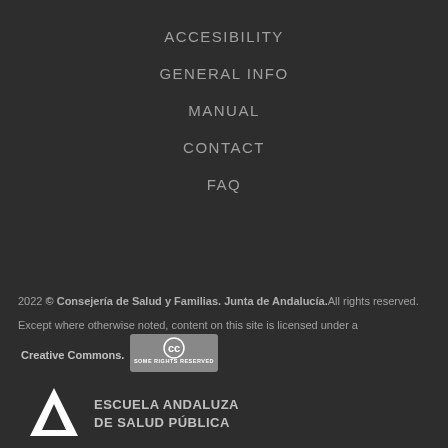ACCESIBILITY
GENERAL INFO
MANUAL
CONTACT
FAQ
2022 © Consejería de Salud y Familias. Junta de Andalucía. All rights reserved.
Except where otherwise noted, content on this site is licensed under a Creative Commons.
[Figure (logo): Creative Commons Some Rights Reserved badge]
[Figure (logo): Escuela Andaluza de Salud Pública logo with triangle A mark]